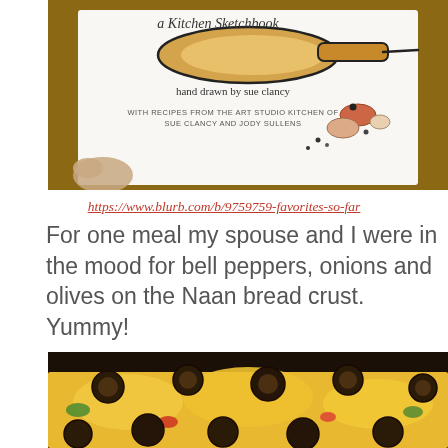[Figure (photo): Photo of a hand holding a book titled 'a Kitchen Sketchbook, hand drawn by sue clancy, with recipes from the Art Studio Kitchen of Sue Clancy and Jody Sullens', featuring an illustration of a wooden spoon and various beans/seeds on the cover.]
https://www.blurb.com/b/9759759-favorites-so-far
For one meal my spouse and I were in the mood for bell peppers, onions and olives on the Naan bread crust. Yummy!
[Figure (photo): Close-up photo of a baked Naan bread pizza topped with melted cheese, sliced black olives, bell peppers, and onions.]